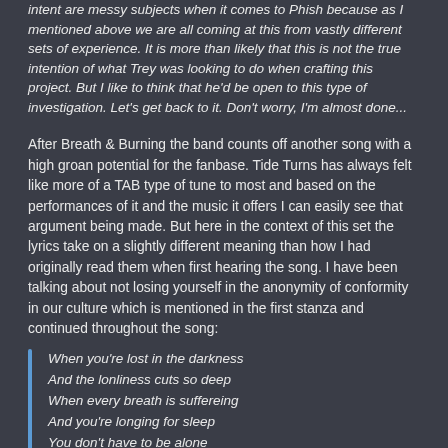intent are messy subjects when it comes to Phish because as I mentioned above we are all coming at this from vastly different sets of experience. It is more than likely that this is not the true intention of what Trey was looking to do when crafting this project. But I like to think that he'd be open to this type of investigation. Let's get back to it. Don't worry, I'm almost done...
After Breath & Burning the band counts off another song with a high groan potential for the fanbase. Tide Turns has always felt like more of a TAB type of tune to most and based on the performances of it and the music it offers I can easily see that argument being made. But here in the context of this set the lyrics take on a slightly different meaning than how I had originally read them when first hearing the song. I have been talking about not losing yourself in the anonymity of conformity in our culture which is mentioned in the first stanza and continued throughout the song:
When you're lost in the darkness
And the lonliness cuts so deep
When every breath is suffereing
And you're longing for sleep
You don't have to be alone
I've still got a kind word to spare
I've still have an ear to listen
I've got time